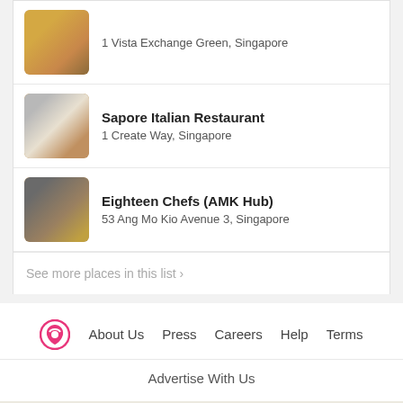1 Vista Exchange Green, Singapore
Sapore Italian Restaurant
1 Create Way, Singapore
Eighteen Chefs (AMK Hub)
53 Ang Mo Kio Avenue 3, Singapore
See more places in this list ›
About Us  Press  Careers  Help  Terms
Advertise With Us
Business Owners ›  Claim your page now  •
Be a Beyond Partner
COPYRIGHT © 2020 BURPPLE PTE LTD. ALL RIGHTS RESERVED.